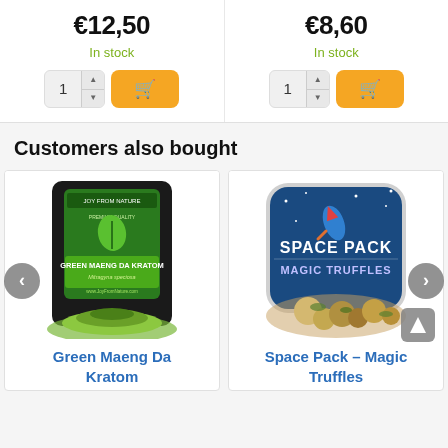€12,50
In stock
€8,60
In stock
Customers also bought
[Figure (photo): Black pouch of Green Maeng Da Kratom powder with green label, with green powder spilled in front]
Green Maeng Da Kratom
[Figure (photo): Space Pack Magic Truffles product in a rounded square container with blue space-themed label showing rocket and stars, with truffles visible]
Space Pack – Magic Truffles